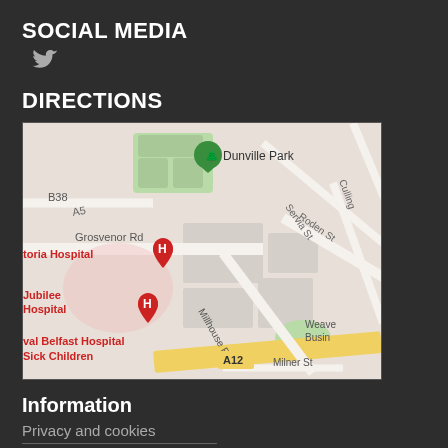SOCIAL MEDIA
[Figure (other): Twitter bird icon in grey]
DIRECTIONS
[Figure (map): Google Maps showing area near Royal Victoria Hospital, Jubilee Hospital, and Royal Belfast Hospital for Sick Children, with roads including Grosvenor Rd, Roden St, Millhouse Rd, Servia St, Distillery St, Culling, A12, B38, A5, and landmarks Dunville Park, Weave Business area, Milner St.]
Information
Privacy and cookies
Website accessibility